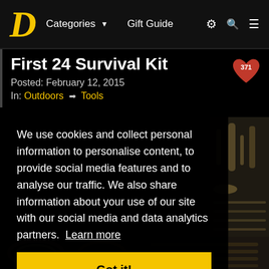D  Categories ▼  Gift Guide
First 24 Survival Kit
Posted: February 12, 2015
In: Outdoors → Tools
We use cookies and collect personal information to personalise content, to provide social media features and to analyse our traffic. We also share information about your use of our site with our social media and data analytics partners. Learn more
Got it!
[Figure (photo): Partial view of survival kit gear/tools on right side]
[Figure (photo): Bottom strip showing survival kit contents]